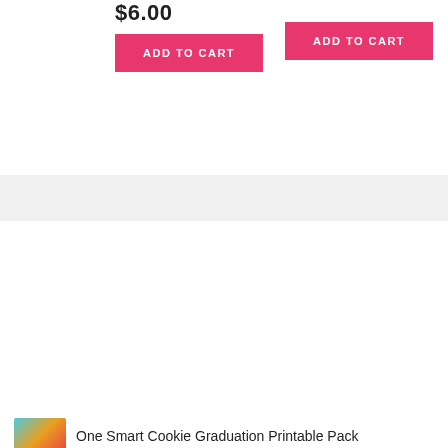$6.00
ADD TO CART
ADD TO CART
ABOUT ELLIE ROSE PARTY DESIGNS
Ellie Rose Party Designs goal is to make you look like a birthday party superstar with our easy-to-use, DIY printable party sets.  We also offer easy-to-follow DIY tutorials so even if you're new to DIY papercrafting you'll know just what to do.
One Smart Cookie Graduation Printable Pack